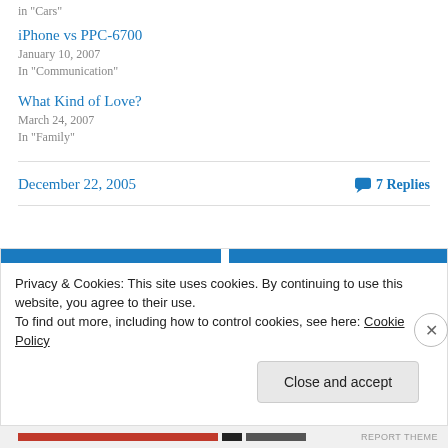in "Cars"
iPhone vs PPC-6700
January 10, 2007
In "Communication"
What Kind of Love?
March 24, 2007
In "Family"
December 22, 2005
7 Replies
Privacy & Cookies: This site uses cookies. By continuing to use this website, you agree to their use.
To find out more, including how to control cookies, see here: Cookie Policy
Close and accept